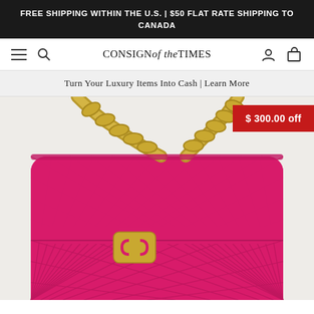FREE SHIPPING WITHIN THE U.S. | $50 FLAT RATE SHIPPING TO CANADA
CONSIGN of the TIMES — navigation bar with menu, search, account, cart icons
Turn Your Luxury Items Into Cash | Learn More
$ 300.00 off
[Figure (photo): Hot pink quilted leather Chanel 19 flap bag with chunky gold chain strap and interlocking CC logo clasp, photographed on light grey background.]